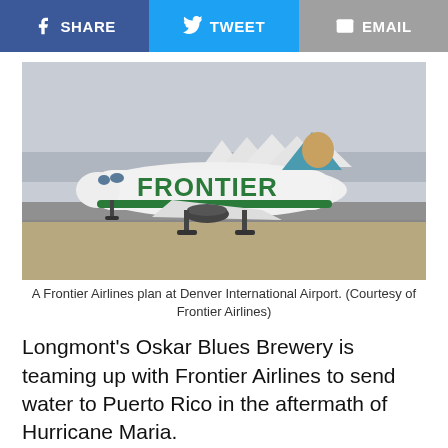[Figure (screenshot): Social share bar with Facebook Share, Tweet, and Email buttons]
[Figure (photo): A Frontier Airlines plane taking off or landing at Denver International Airport. The white aircraft has green FRONTIER lettering on the fuselage and a bear on the tail fin.]
A Frontier Airlines plan at Denver International Airport. (Courtesy of Frontier Airlines)
Longmont's Oskar Blues Brewery is teaming up with Frontier Airlines to send water to Puerto Rico in the aftermath of Hurricane Maria.